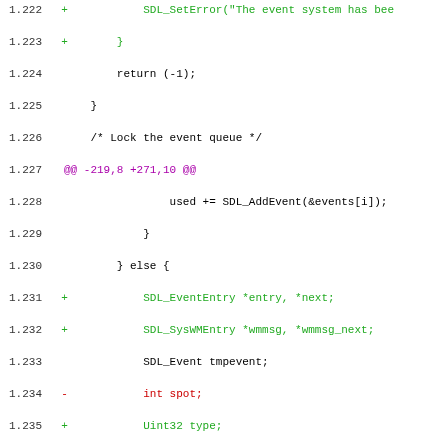[Figure (screenshot): Diff/patch view of C source code showing additions (green), deletions (red), and context lines (black), with line numbers and @@ hunk markers in purple.]